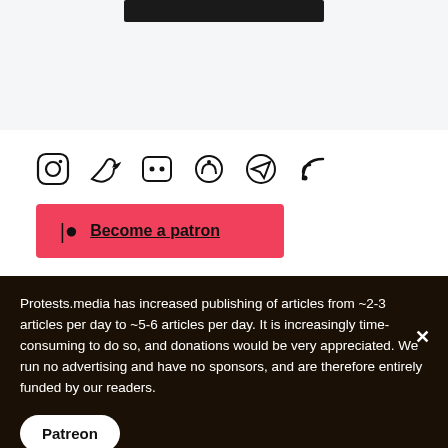[Figure (screenshot): Dark navigation bar at top of page on light blue-grey background]
[Figure (infographic): Row of social media icons: Instagram, Twitter, Discord, Mastodon, Telegram, RSS]
[Figure (other): Patreon button with red background and Patreon logo icon, text 'Become a patron']
Protests.media has increased publishing of articles from ~2-3 articles per day to ~5-6 articles per day. It is increasingly time-consuming to do so, and donations would be very appreciated. We run no advertising and have no sponsors, and are therefore entirely funded by our readers.
Patreon